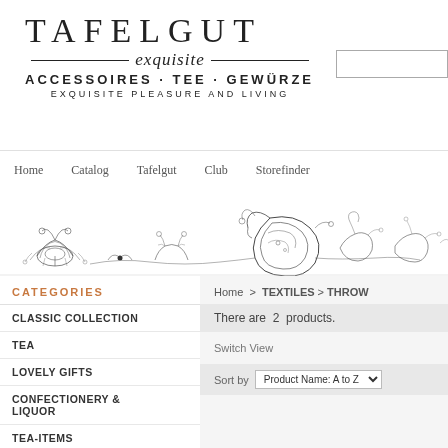[Figure (logo): Tafelgut exquisite logo with decorative lines, subtitle ACCESSOIRES · TEE · GEWÜRZE, tagline EXQUISITE PLEASURE AND LIVING]
Home  Catalog  Tafelgut  Club  Storefinder
[Figure (illustration): Decorative black and white floral/paisley pattern banner]
CATEGORIES
CLASSIC COLLECTION
TEA
LOVELY GIFTS
CONFECTIONERY & LIQUOR
TEA-ITEMS
SPICE BLENDS
Home  >  TEXTILES > THROW
There are  2  products.
Switch View
Sort by  Product Name: A to Z